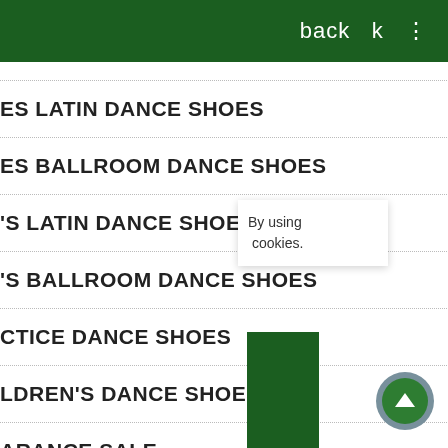back  k  ⋮
ES LATIN DANCE SHOES
ES BALLROOM DANCE SHOES
'S LATIN DANCE SHOES
'S BALLROOM DANCE SHOES
CTICE DANCE SHOES
LDREN'S DANCE SHOES
ARANCE SALE
[Figure (photo): Black dance shoes on white background, partially visible on the right side of the screen]
By using cookies.